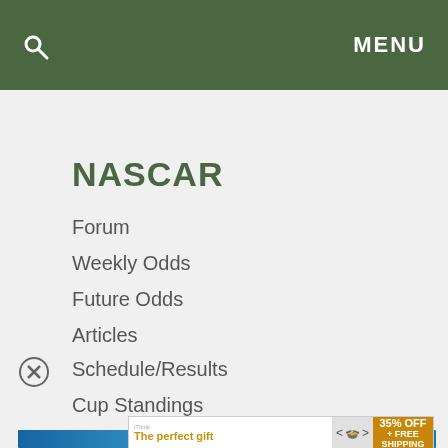🔍   MENU
NASCAR
Forum
Weekly Odds
Future Odds
Articles
Schedule/Results
Cup Standings
Drivers
[Figure (screenshot): Blue image strip partially visible]
This website uses cookies to ensure you get the best experience on our website.
[Figure (infographic): Advertisement: The perfect gift - 35% OFF + FREE SHIPPING]